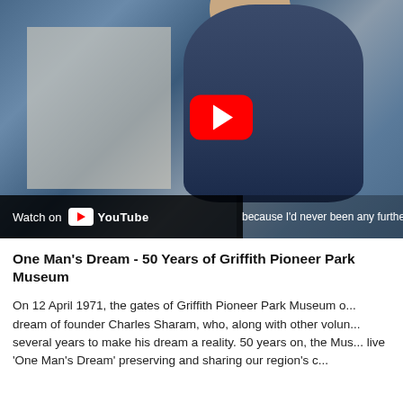[Figure (screenshot): YouTube video thumbnail showing an elderly man wearing sunglasses and a cap standing outdoors. A large red YouTube play button is overlaid in the center. A dark bar at the bottom left reads 'Watch on YouTube' and a subtitle reads 'because I'd never been any further than Griff']
One Man's Dream - 50 Years of Griffith Pioneer Park Museum
On 12 April 1971, the gates of Griffith Pioneer Park Museum o... dream of founder Charles Sharam, who, along with other volun... several years to make his dream a reality. 50 years on, the Mus... live 'One Man's Dream' preserving and sharing our region's c...